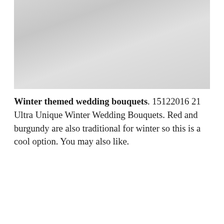[Figure (photo): A light gray gradient image area, likely showing a partial view of a winter-themed wedding bouquet photograph.]
Winter themed wedding bouquets. 15122016 21 Ultra Unique Winter Wedding Bouquets. Red and burgundy are also traditional for winter so this is a cool option. You may also like.